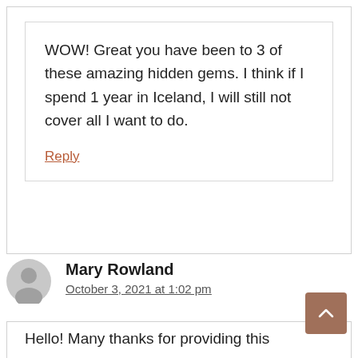WOW! Great you have been to 3 of these amazing hidden gems. I think if I spend 1 year in Iceland, I will still not cover all I want to do.
Reply
Mary Rowland
October 3, 2021 at 1:02 pm
Hello! Many thanks for providing this